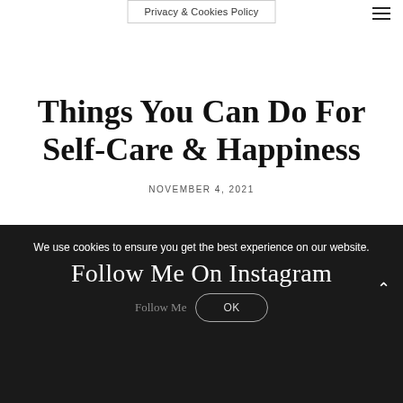Privacy & Cookies Policy
Things You Can Do For Self-Care & Happiness
NOVEMBER 4, 2021
We use cookies to ensure you get the best experience on our website.
Follow Me On Instagram
Follow Me
OK